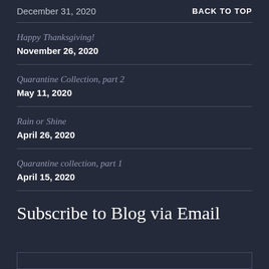December 31, 2020
BACK TO TOP
Happy Thanksgiving!
November 26, 2020
Quarantine Collection, part 2
May 11, 2020
Rain or Shine
April 26, 2020
Quarantine collection, part 1
April 15, 2020
Subscribe to Blog via Email